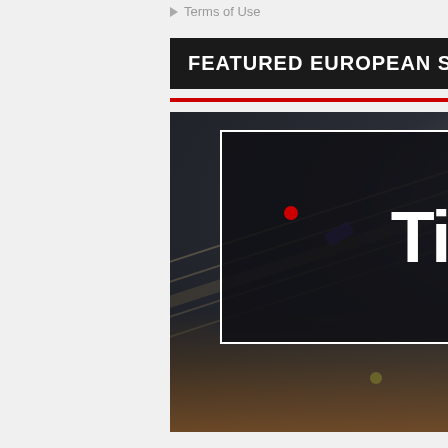Terms of Use
FEATURED EUROPEAN SPORTSBOOK
[Figure (logo): Tipbet sportsbook logo on dark background with sports stadium imagery. White 'Tipbet' text with red dot over the 'i', enclosed in a white-bordered box. Text overlay showing '10000+ PRO BETS' in red.]